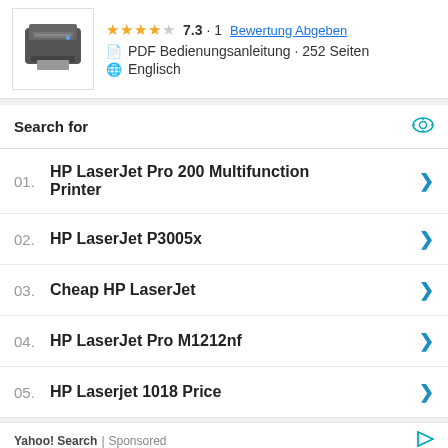[Figure (photo): HP LaserJet printer thumbnail image]
7.3 · 1   Bewertung Abgeben
PDF Bedienungsanleitung · 252 Seiten
Englisch
Search for
01. HP LaserJet Pro 200 Multifunction Printer
02. HP LaserJet P3005x
03. Cheap HP LaserJet
04. HP LaserJet Pro M1212nf
05. HP Laserjet 1018 Price
Yahoo! Search | Sponsored
[Figure (screenshot): Advertisement banner for 'They Are Coming!' mobile game by Rollic, with bowling/game artwork and Anzeige badge]
Download